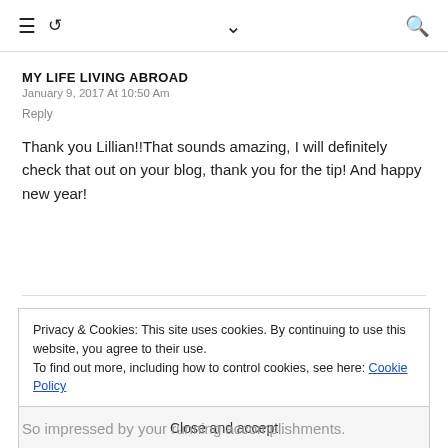≡ ↺ ∨ 🔍
MY LIFE LIVING ABROAD
January 9, 2017 At 10:50 Am
Reply
Thank you Lillian!!That sounds amazing, I will definitely check that out on your blog, thank you for the tip! And happy new year!
Privacy & Cookies: This site uses cookies. By continuing to use this website, you agree to their use.
To find out more, including how to control cookies, see here: Cookie Policy
Close and accept
So impressed by your running accomplishments.